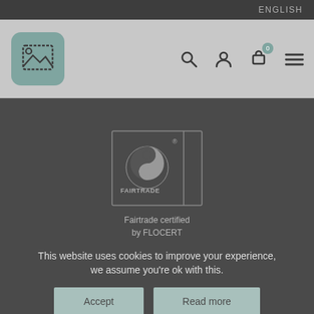ENGLISH
[Figure (logo): Website logo with image placeholder icon on teal rounded square background, with navigation icons: search, user, cart (badge 0), menu]
[Figure (logo): Fairtrade Cotton certified logo - circular symbol with FAIRTRADE COTTON text]
Fairtrade certified by FLOCERT
This website uses cookies to improve your experience, we assume you're ok with this.
Accept
Read more